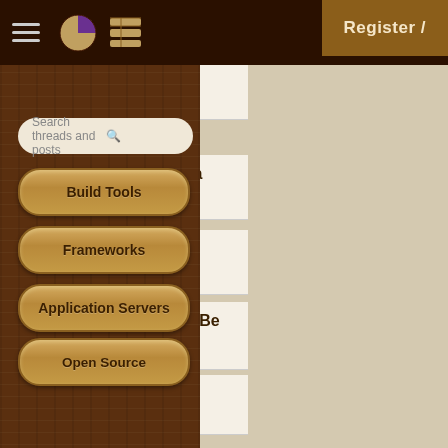Forum navigation header with hamburger menu, pie chart icon, list icon, and Register button
Search threads and posts
Build Tools
Frameworks
Application Servers
Open Source
This Site
Careers
Other
Can an... re — 15 replies
SCWCD 1.4 Beta Prepara — 17 replies
Reached the limit of 600 — 5 replies
FREE BETA: SCBCD 5.0 Be — 49 replies [→□ 1, 2]
Anybody in india registe — 8 replies